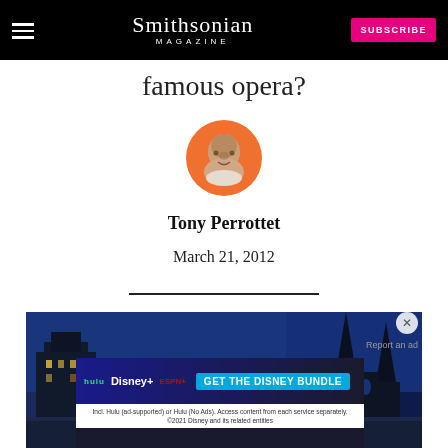Smithsonian Magazine | SUBSCRIBE
famous opera?
[Figure (photo): Circular author portrait of Tony Perrottet on orange background]
Tony Perrottet
March 21, 2012
[Figure (photo): Night photograph of a gothic cathedral lit in blue, with an advertisement overlay for the Disney Bundle (Hulu, Disney+, ESPN+)]